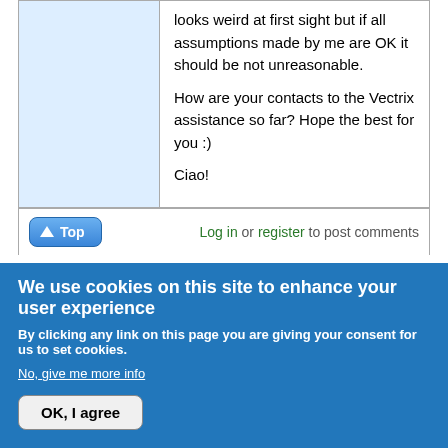looks weird at first sight but if all assumptions made by me are OK it should be not unreasonable.

How are your contacts to the Vectrix assistance so far? Hope the best for you :)

Ciao!
Log in or register to post comments
Mon, 03/03/2008 - 13:22 (Reply to #21) #22
Mik
Re: How to best break in a Vectrix - Hypothesis I
Well, this actually looks weird... 19km left and almost half "ladder" full. If the
We use cookies on this site to enhance your user experience
By clicking any link on this page you are giving your consent for us to set cookies.
No, give me more info
OK, I agree